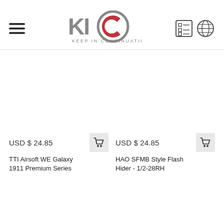KIC Keep in Continuation – Navigation header with hamburger menu and icons
USD $ 24.85
USD $ 24.85
TTI Airsoft WE Galaxy 1911 Premium Series
HAO SFMB Style Flash Hider - 1/2-28RH